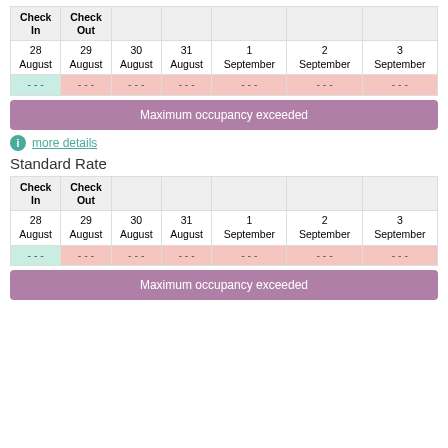| Check In | Check Out |  |  |  |  |  |
| --- | --- | --- | --- | --- | --- | --- |
| 28 August | 29 August | 30 August | 31 August | 1 September | 2 September | 3 September |
| - - - | - - - | - - - | - - - | - - - | - - - | - - - |
Maximum occupancy exceeded
more details
Standard Rate
| Check In | Check Out |  |  |  |  |  |
| --- | --- | --- | --- | --- | --- | --- |
| 28 August | 29 August | 30 August | 31 August | 1 September | 2 September | 3 September |
| - - - | - - - | - - - | - - - | - - - | - - - | - - - |
Maximum occupancy exceeded